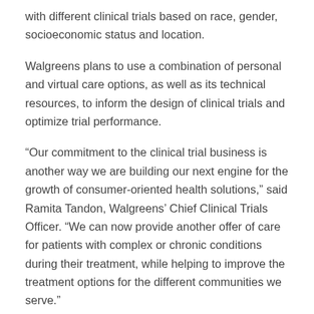with different clinical trials based on race, gender, socioeconomic status and location.
Walgreens plans to use a combination of personal and virtual care options, as well as its technical resources, to inform the design of clinical trials and optimize trial performance.
“Our commitment to the clinical trial business is another way we are building our next engine for the growth of consumer-oriented health solutions,” said Ramita Tandon, Walgreens’ Chief Clinical Trials Officer. “We can now provide another offer of care for patients with complex or chronic conditions during their treatment, while helping to improve the treatment options for the different communities we serve.”
She said the company’s goal is to take participants in the trial, even after they have completed their clinical trial obligations, and to continue coordinating their care as part of Walgreens’